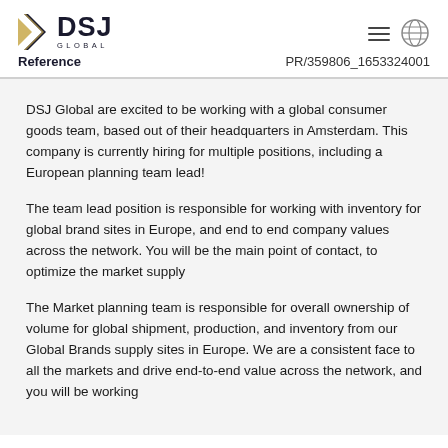DSJ Global — Reference PR/359806_1653324001
DSJ Global are excited to be working with a global consumer goods team, based out of their headquarters in Amsterdam. This company is currently hiring for multiple positions, including a European planning team lead!
The team lead position is responsible for working with inventory for global brand sites in Europe, and end to end company values across the network. You will be the main point of contact, to optimize the market supply
The Market planning team is responsible for overall ownership of volume for global shipment, production, and inventory from our Global Brands supply sites in Europe. We are a consistent face to all the markets and drive end-to-end value across the network, and you will be working